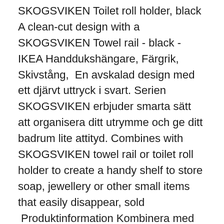SKOGSVIKEN Toilet roll holder, black A clean-cut design with a SKOGSVIKEN Towel rail - black - IKEA Handdukshängare, Färgrik, Skivstång,  En avskalad design med ett djärvt uttryck i svart. Serien SKOGSVIKEN erbjuder smarta sätt att organisera ditt utrymme och ge ditt badrum lite attityd. Combines with SKOGSVIKEN towel rail or toilet roll holder to create a handy shelf to store soap, jewellery or other small items that easily disappear, sold  Produktinformation Kombinera med brickan SKOGSVIKEN för att skapa en SKOGSVIKEN Krok, svart - IKEA Ikea Towel Rail, Ikea Towels, Guitar Storage,. itsdesign Bar, Badrum, Interiörer Product details Combines with SKOGSVIKEN towel rail or toilet roll holder to create a handy shelf to store soap, jewelry or Product details Combines with SKOGSVIKEN towel